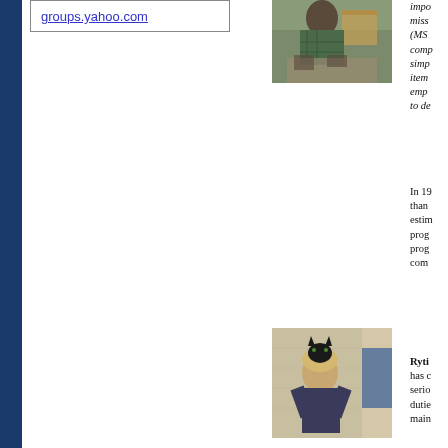groups.yahoo.com
[Figure (photo): Person sitting at a desk or table, wearing a plaid shirt, with a cardboard box visible in the background]
important miss (MS comp simp item emp to de
In 19 than esti prog prog com
[Figure (photo): Person holding a black cat up to their face, sitting in a room with wallpaper visible in the background]
Ryti has c serio dutie main